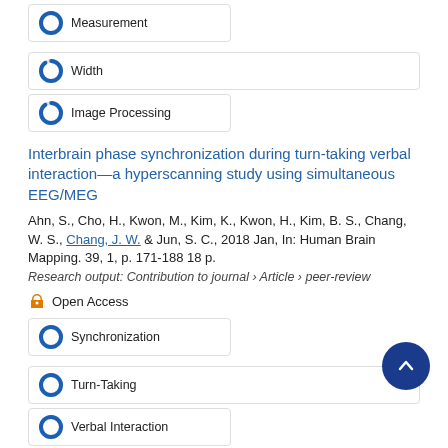[Figure (other): Donut badge row: 100% Measurement and 90% Width badges]
[Figure (other): Donut badge: 90% Image Processing]
Interbrain phase synchronization during turn-taking verbal interaction—a hyperscanning study using simultaneous EEG/MEG
Ahn, S., Cho, H., Kwon, M., Kim, K., Kwon, H., Kim, B. S., Chang, W. S., Chang, J. W. & Jun, S. C., 2018 Jan, In: Human Brain Mapping. 39, 1, p. 171-188 18 p.
Research output: Contribution to journal › Article › peer-review
Open Access
[Figure (other): Donut badge: 100% Synchronization]
[Figure (other): Donut badge: 100% Turn-Taking]
[Figure (other): Donut badge: 100% Verbal Interaction]
[Figure (other): Donut badge: 70% Social Interaction]
[Figure (other): Donut badge: 30% Verbal Communication]
Interictal epileptiform discharges relate to 1H-MRS-...